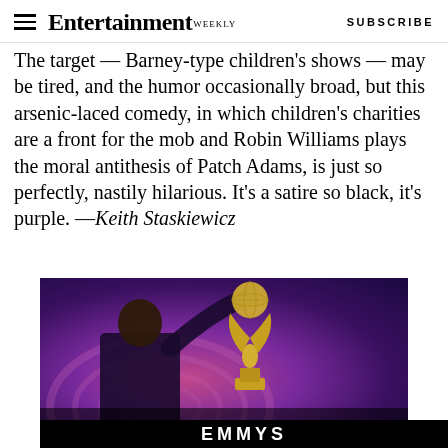Entertainment Weekly — SUBSCRIBE
The target — Barney-type children's shows — may be tired, and the humor occasionally broad, but this arsenic-laced comedy, in which children's charities are a front for the mob and Robin Williams plays the moral antithesis of Patch Adams, is just so perfectly, nastily hilarious. It's a satire so black, it's purple. —Keith Staskiewicz
[Figure (photo): A man in a dark suit holding up an Emmy Award trophy, posed against a purple and pink swirling background. A caption overlay reads 'Hold up! It's the...' and partial large text appears at the bottom of the image.]